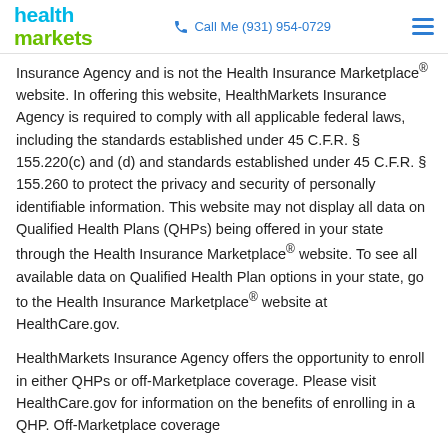health markets | Call Me (931) 954-0729
Insurance Agency and is not the Health Insurance Marketplace® website. In offering this website, HealthMarkets Insurance Agency is required to comply with all applicable federal laws, including the standards established under 45 C.F.R. § 155.220(c) and (d) and standards established under 45 C.F.R. § 155.260 to protect the privacy and security of personally identifiable information. This website may not display all data on Qualified Health Plans (QHPs) being offered in your state through the Health Insurance Marketplace® website. To see all available data on Qualified Health Plan options in your state, go to the Health Insurance Marketplace® website at HealthCare.gov.
HealthMarkets Insurance Agency offers the opportunity to enroll in either QHPs or off-Marketplace coverage. Please visit HealthCare.gov for information on the benefits of enrolling in a QHP. Off-Marketplace coverage